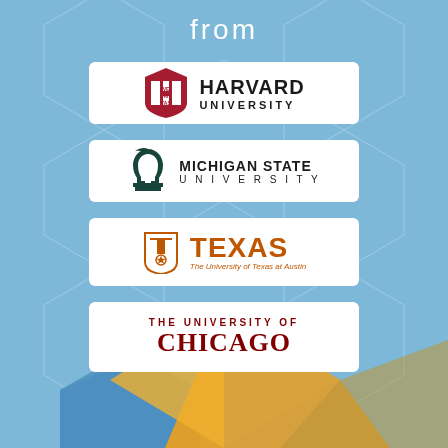from
[Figure (logo): Harvard University logo with shield and text]
[Figure (logo): Michigan State University logo with Spartan helmet]
[Figure (logo): The University of Texas at Austin logo]
[Figure (logo): The University of Chicago logo]